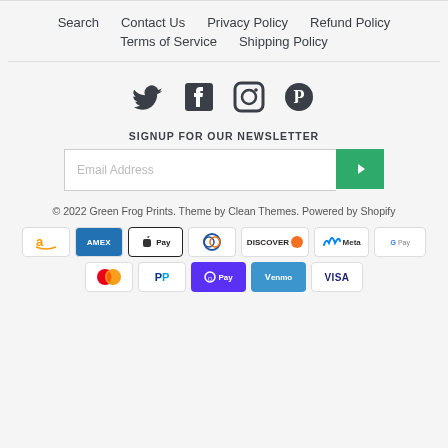Search  Contact Us  Privacy Policy  Refund Policy  Terms of Service  Shipping Policy
[Figure (infographic): Social media icons: Twitter, Facebook, Instagram, Pinterest]
SIGNUP FOR OUR NEWSLETTER
Email Address [input box with green submit button]
© 2022 Green Frog Prints. Theme by Clean Themes. Powered by Shopify
[Figure (infographic): Payment method icons: Amazon, Amex, Apple Pay, Diners Club, Discover, Meta Pay, Google Pay, Mastercard, PayPal, Shop Pay, Venmo, Visa]